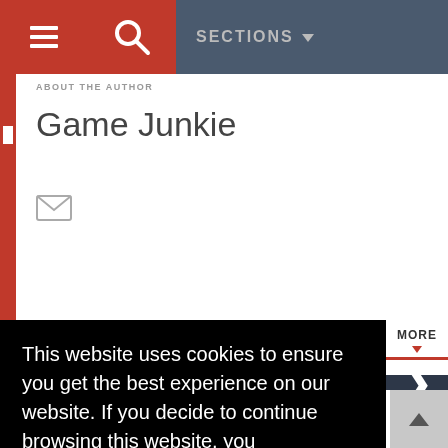SECTIONS
ABOUT THE AUTHOR
Game Junkie
This website uses cookies to ensure you get the best experience on our website. If you decide to continue browsing this website, you automatically agree to our Privacy Policy
Got it!